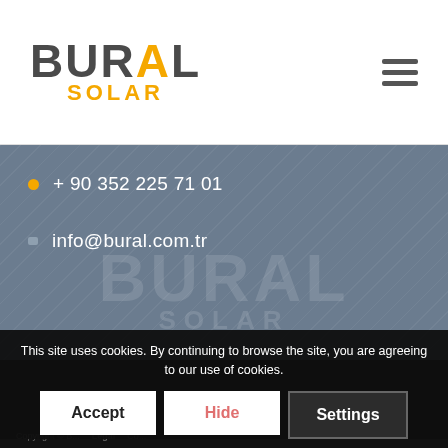[Figure (logo): Bural Solar logo with dark grey BURAL text and orange SOLAR text, orange dot above A in BURAL]
[Figure (illustration): Hamburger menu icon (three horizontal lines)]
+ 90 352 225 71 01
info@bural.com.tr
[Figure (logo): Bural Solar watermark logo displayed in light grey on dark grey diagonal striped background]
This site uses cookies. By continuing to browse the site, you are agreeing to our use of cookies.
Accept
Hide
Settings
Copyright © B... Legal Co...